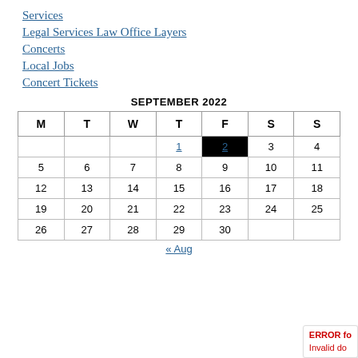Services
Legal Services Law Office Layers
Concerts
Local Jobs
Concert Tickets
| M | T | W | T | F | S | S |
| --- | --- | --- | --- | --- | --- | --- |
|  |  |  | 1 | 2 | 3 | 4 |
| 5 | 6 | 7 | 8 | 9 | 10 | 11 |
| 12 | 13 | 14 | 15 | 16 | 17 | 18 |
| 19 | 20 | 21 | 22 | 23 | 24 | 25 |
| 26 | 27 | 28 | 29 | 30 |  |  |
« Aug